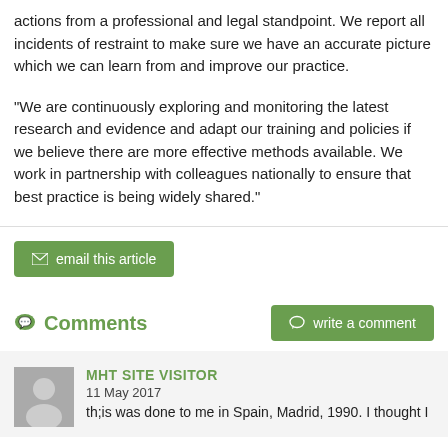actions from a professional and legal standpoint. We report all incidents of restraint to make sure we have an accurate picture which we can learn from and improve our practice.
“We are continuously exploring and monitoring the latest research and evidence and adapt our training and policies if we believe there are more effective methods available. We work in partnership with colleagues nationally to ensure that best practice is being widely shared.”
email this article
Comments
write a comment
MHT SITE VISITOR
11 May 2017
th;is was done to me in Spain, Madrid, 1990. I thought I